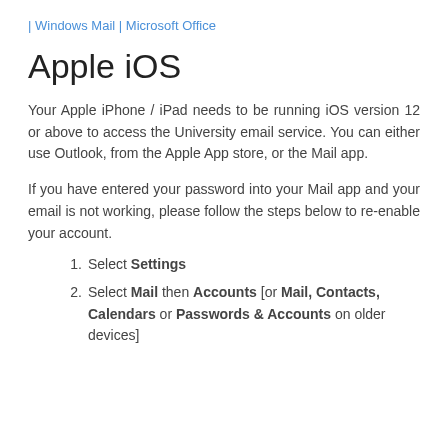| Windows Mail | Microsoft Office
Apple iOS
Your Apple iPhone / iPad needs to be running iOS version 12 or above to access the University email service. You can either use Outlook, from the Apple App store, or the Mail app.
If you have entered your password into your Mail app and your email is not working, please follow the steps below to re-enable your account.
Select Settings
Select Mail then Accounts [or Mail, Contacts, Calendars or Passwords & Accounts on older devices]